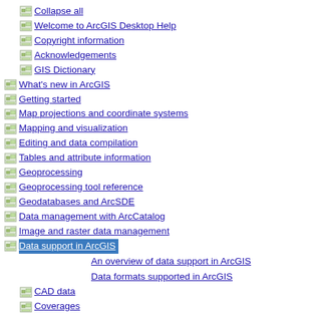Collapse all
Welcome to ArcGIS Desktop Help
Copyright information
Acknowledgements
GIS Dictionary
What's new in ArcGIS
Getting started
Map projections and coordinate systems
Mapping and visualization
Editing and data compilation
Tables and attribute information
Geoprocessing
Geoprocessing tool reference
Geodatabases and ArcSDE
Data management with ArcCatalog
Image and raster data management
Data support in ArcGIS
An overview of data support in ArcGIS
Data formats supported in ArcGIS
CAD data
Coverages
NetCDF: multidimensional, time series data
Shapefiles
Terrains
Extensions